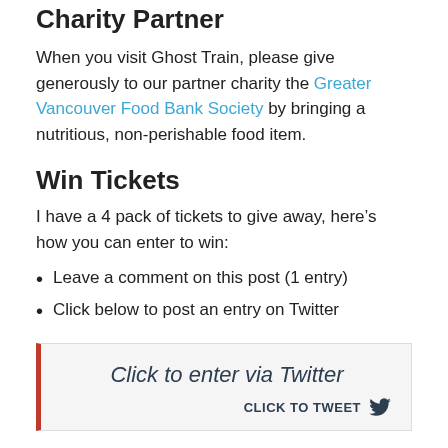Charity Partner
When you visit Ghost Train, please give generously to our partner charity the Greater Vancouver Food Bank Society by bringing a nutritious, non-perishable food item.
Win Tickets
I have a 4 pack of tickets to give away, here’s how you can enter to win:
Leave a comment on this post (1 entry)
Click below to post an entry on Twitter
[Figure (other): Click to enter via Twitter widget box with red left border, showing 'Click to enter via Twitter' text and a CLICK TO TWEET button with Twitter bird icon]
I will draw one winner at random from all entries at